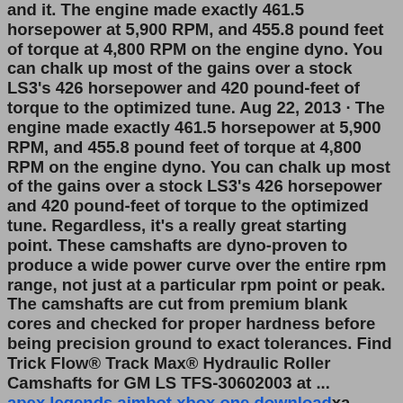and it. The engine made exactly 461.5 horsepower at 5,900 RPM, and 455.8 pound feet of torque at 4,800 RPM on the engine dyno. You can chalk up most of the gains over a stock LS3's 426 horsepower and 420 pound-feet of torque to the optimized tune. Aug 22, 2013 · The engine made exactly 461.5 horsepower at 5,900 RPM, and 455.8 pound feet of torque at 4,800 RPM on the engine dyno. You can chalk up most of the gains over a stock LS3's 426 horsepower and 420 pound-feet of torque to the optimized tune. Regardless, it's a really great starting point. These camshafts are dyno-proven to produce a wide power curve over the entire rpm range, not just at a particular rpm point or peak. The camshafts are cut from premium blank cores and checked for proper hardness before being precision ground to exact tolerances. Find Trick Flow® Track Max® Hydraulic Roller Camshafts for GM LS TFS-30602003 at ... apex legends aimbot xbox one downloadxa
apex legends aimbot xbox one download